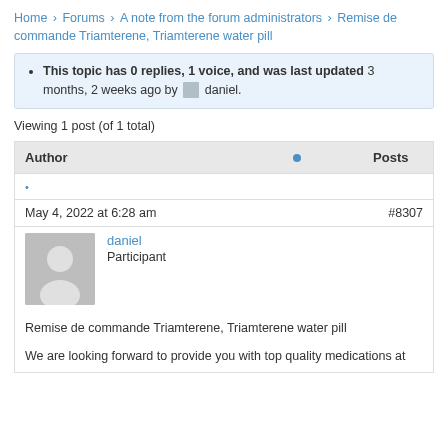Home › Forums › A note from the forum administrators › Remise de commande Triamterene, Triamterene water pill
This topic has 0 replies, 1 voice, and was last updated 3 months, 2 weeks ago by daniel.
Viewing 1 post (of 1 total)
| Author |  | Posts |
| --- | --- | --- |
| • |  |  |
| May 4, 2022 at 6:28 am |  | #8307 |
daniel
Participant
Remise de commande Triamterene, Triamterene water pill
We are looking forward to provide you with top quality medications at